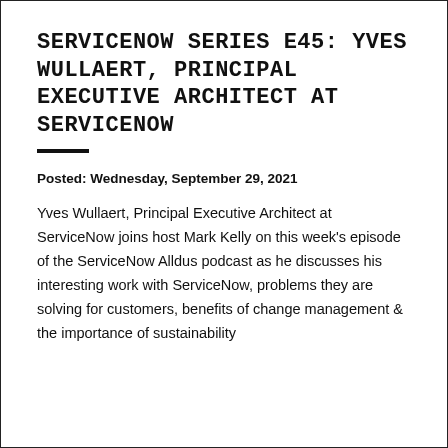SERVICENOW SERIES E45: YVES WULLAERT, PRINCIPAL EXECUTIVE ARCHITECT AT SERVICENOW
Posted: Wednesday, September 29, 2021
Yves Wullaert, Principal Executive Architect at ServiceNow joins host Mark Kelly on this week's episode of the ServiceNow Alldus podcast as he discusses his interesting work with ServiceNow, problems they are solving for customers, benefits of change management & the importance of sustainability